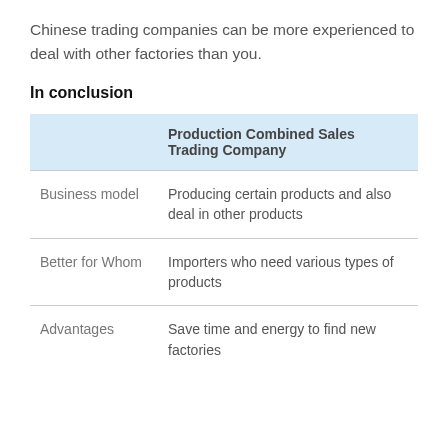Chinese trading companies can be more experienced to deal with other factories than you.
In conclusion
|  | Production Combined Sales Trading Company |
| --- | --- |
| Business model | Producing certain products and also deal in other products |
| Better for Whom | Importers who need various types of products |
| Advantages | Save time and energy to find new factories |